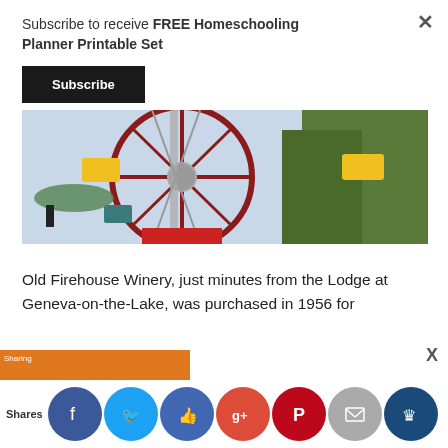Subscribe to receive FREE Homeschooling Planner Printable Set
Subscribe
[Figure (photo): Close-up photo of a Ferris wheel with red metal structure and yellow gondola cars, with trees visible in background]
Old Firehouse Winery, just minutes from the Lodge at Geneva-on-the-Lake, was purchased in 1956 for
Shares